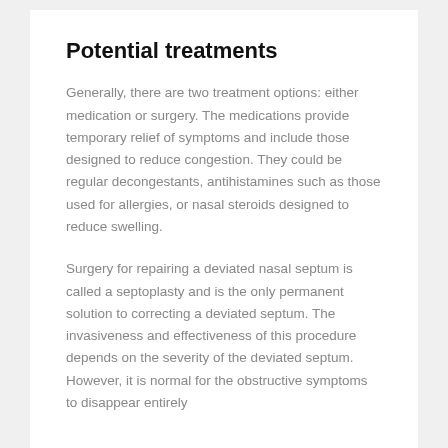Potential treatments
Generally, there are two treatment options: either medication or surgery. The medications provide temporary relief of symptoms and include those designed to reduce congestion. They could be regular decongestants, antihistamines such as those used for allergies, or nasal steroids designed to reduce swelling.
Surgery for repairing a deviated nasal septum is called a septoplasty and is the only permanent solution to correcting a deviated septum. The invasiveness and effectiveness of this procedure depends on the severity of the deviated septum. However, it is normal for the obstructive symptoms to disappear entirely